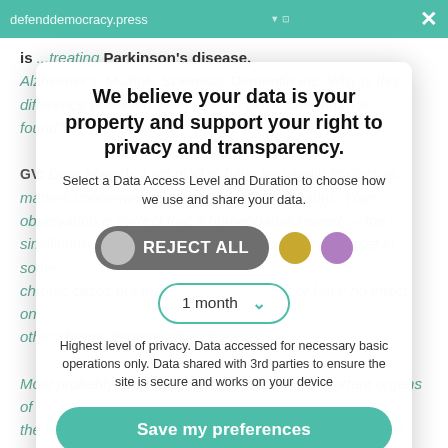defenddemocracy.press ... treating Parkinson's disease, ×
is ... treating Parkinson's disease, Alzheimer's, Multiple Sclerosis, Dementia etc. Why is this difference observed even when a close simillimum is found?
We believe your data is your property and support your right to privacy and transparency.
Select a Data Access Level and Duration to choose how we use and share your data.
REJECT ALL
1 month
Highest level of privacy. Data accessed for necessary basic operations only. Data shared with 3rd parties to ensure the site is secure and works on your device
Save my preferences
Customize   Privacy policy
GV: Dear Manish, I am glad to have you again to discuss matters concerning the practice of homeopathy. Your observation is correct that a homeopathic remedy – the simillimum as we call it – may bring about a total reset in some chronic cases but may only slightly affect or have no effect on other chronic degenerative diseases.
Most probably this happens because some important organs of the body, or a system, have deteriorated to such a degree that there is no way of restructuring such an organ or system. The strange thing is that, even if a diagnosis of an incurable chronic condition has been established, let us say in M/S or ALS etc.,